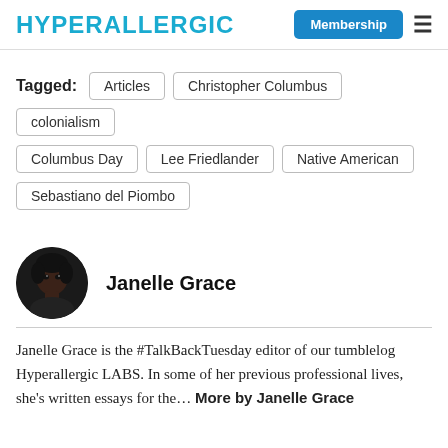HYPERALLERGIC   Membership   ☰
Tagged: Articles  Christopher Columbus  colonialism  Columbus Day  Lee Friedlander  Native American  Sebastiano del Piombo
[Figure (photo): Circular avatar photo of Janelle Grace, a woman with dark skin and dark hair]
Janelle Grace
Janelle Grace is the #TalkBackTuesday editor of our tumblelog Hyperallergic LABS. In some of her previous professional lives, she's written essays for the… More by Janelle Grace